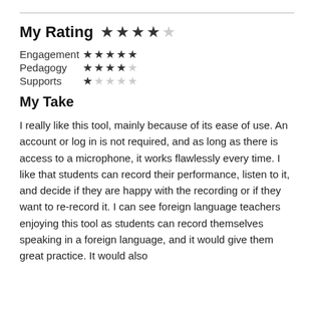My Rating ★★★★☆
Engagement ★★★★★
Pedagogy ★★★★☆
Supports ★☆☆☆☆
My Take
I really like this tool, mainly because of its ease of use. An account or log in is not required, and as long as there is access to a microphone, it works flawlessly every time. I like that students can record their performance, listen to it, and decide if they are happy with the recording or if they want to re-record it. I can see foreign language teachers enjoying this tool as students can record themselves speaking in a foreign language, and it would give them great practice. It would also